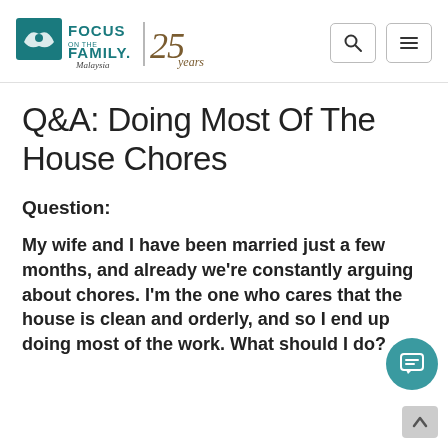Focus on the Family Malaysia 25 years
Q&A: Doing Most Of The House Chores
Question:
My wife and I have been married just a few months, and already we're constantly arguing about chores. I'm the one who cares that the house is clean and orderly, and so I end up doing most of the work. What should I do?